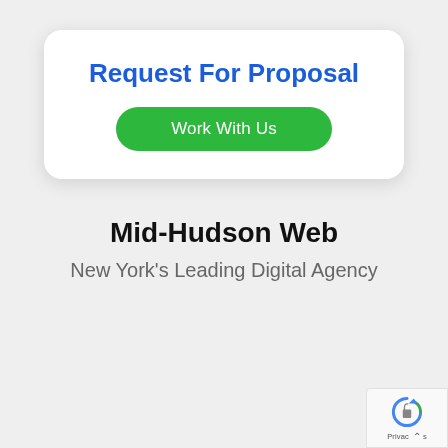Request For Proposal
Work With Us
Mid-Hudson Web
New York's Leading Digital Agency